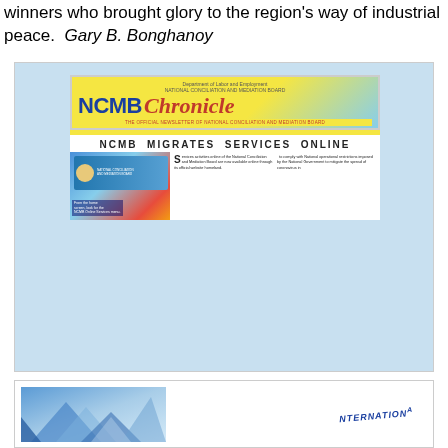winners who brought glory to the region's way of industrial peace.  Gary B. Bonghanoy
[Figure (screenshot): NCMB Chronicle newsletter screenshot showing the headline 'NCMB MIGRATES SERVICES ONLINE' with the NCMB Chronicle masthead, a photo of a person at a computer, and article body text in two columns.]
[Figure (illustration): Bottom box showing a partial blue geometric/polygon decorative illustration on the left and partial text reading 'INTERNATIONAL' on the right, likely a newsletter or publication banner.]